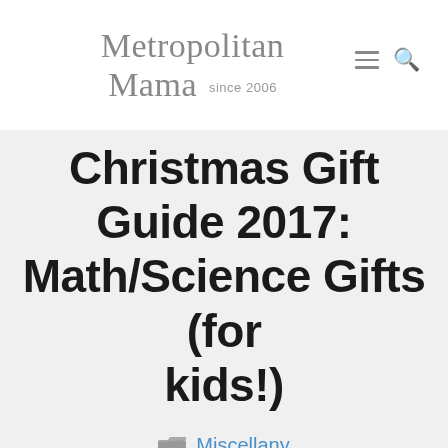Metropolitan Mama since 2006
Christmas Gift Guide 2017: Math/Science Gifts (for kids!)
Miscellany